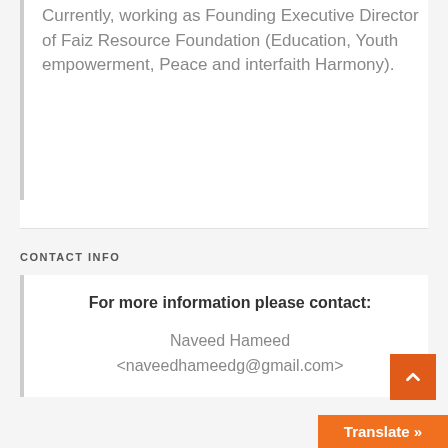Currently, working as Founding Executive Director of Faiz Resource Foundation (Education, Youth empowerment, Peace and interfaith Harmony).
CONTACT INFO
For more information please contact:
Naveed Hameed
<naveedhameedg@gmail.com>